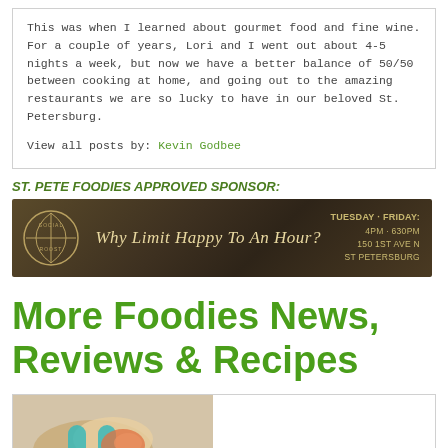This was when I learned about gourmet food and fine wine. For a couple of years, Lori and I went out about 4-5 nights a week, but now we have a better balance of 50/50 between cooking at home, and going out to the amazing restaurants we are so lucky to have in our beloved St. Petersburg.
View all posts by: Kevin Godbee
ST. PETE FOODIES APPROVED SPONSOR:
[Figure (infographic): Social Roost sponsor banner on dark brown background with logo, script tagline 'Why Limit Happy To An Hour?', and business info: TUESDAY - FRIDAY: 4PM - 630PM, 150 1ST AVE N, ST PETERSBURG]
More Foodies News, Reviews & Recipes
[Figure (photo): Food photo showing what appears to be a dessert or food item with teal/green and orange colors]